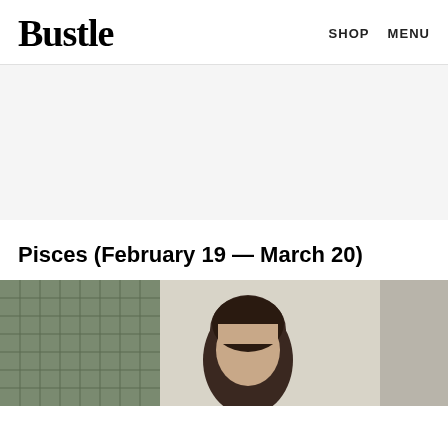Bustle   SHOP   MENU
[Figure (other): Gray advertisement placeholder area]
Pisces (February 19 — March 20)
[Figure (photo): Person with dark hair photographed outdoors against a tiled/brick wall background]